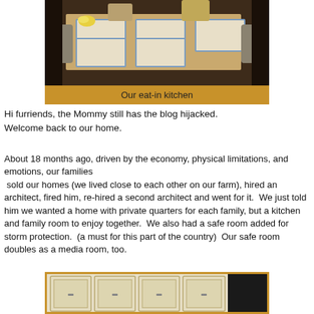[Figure (photo): Photo of an eat-in kitchen with a dining table set with placemats, chairs, and hardwood floors]
Our eat-in kitchen
Hi furriends, the Mommy still has the blog hijacked. Welcome back to our home.
About 18 months ago, driven by the economy, physical limitations, and emotions, our families sold our homes (we lived close to each other on our farm), hired an architect, fired him, re-hired a second architect and went for it.  We just told him we wanted a home with private quarters for each family, but a kitchen and family room to enjoy together.  We also had a safe room added for storm protection.  (a must for this part of the country)  Our safe room doubles as a media room, too.
[Figure (photo): Photo of white kitchen cabinets with raised panel doors]